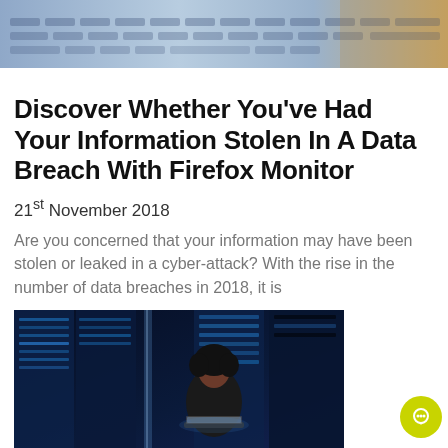[Figure (photo): Close-up of a laptop keyboard with blue tones, partially visible at top of page]
Discover Whether You've Had Your Information Stolen In A Data Breach With Firefox Monitor
21st November 2018
Are you concerned that your information may have been stolen or leaked in a cyber-attack? With the rise in the number of data breaches in 2018, it is
[Figure (photo): Person working on a laptop in a dark server room with blue lighting and server racks visible]